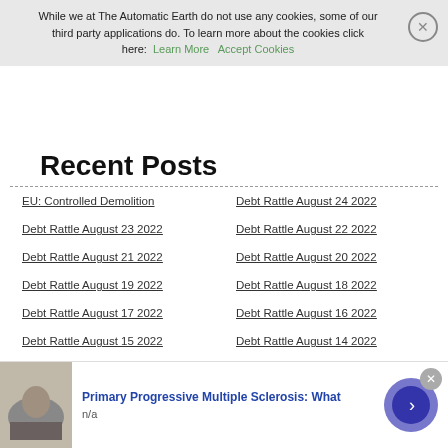While we at The Automatic Earth do not use any cookies, some of our third party applications do. To learn more about the cookies click here: Learn More   Accept Cookies
Recent Posts
EU: Controlled Demolition
Debt Rattle August 24 2022
Debt Rattle August 23 2022
Debt Rattle August 22 2022
Debt Rattle August 21 2022
Debt Rattle August 20 2022
Debt Rattle August 19 2022
Debt Rattle August 18 2022
Debt Rattle August 17 2022
Debt Rattle August 16 2022
Debt Rattle August 15 2022
Debt Rattle August 14 2022
Debt Rattle August 13 2022
Debt Rattle August 12 2022
Debt Rattle August 11 2022
Debt Rattle August 10 2022
Debt Rattle August 9 2022
Debt Rattle August 8 2022
Primary Progressive Multiple Sclerosis: What
n/a